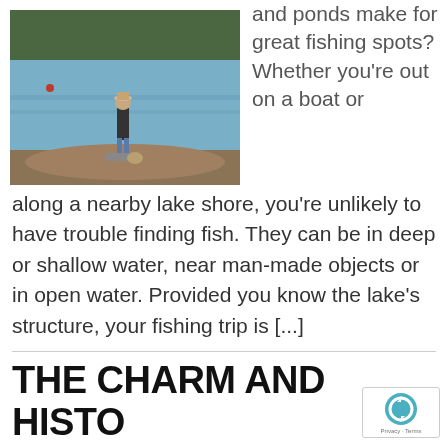[Figure (photo): A person standing on a rocky lake shore, fishing, with calm blue water and trees in the background.]
and ponds make for great fishing spots? Whether you're out on a boat or along a nearby lake shore, you're unlikely to have trouble finding fish. They can be in deep or shallow water, near man-made objects or in open water. Provided you know the lake's structure, your fishing trip is [...]
THE CHARM AND HISTO OF PORT GRIMAUD